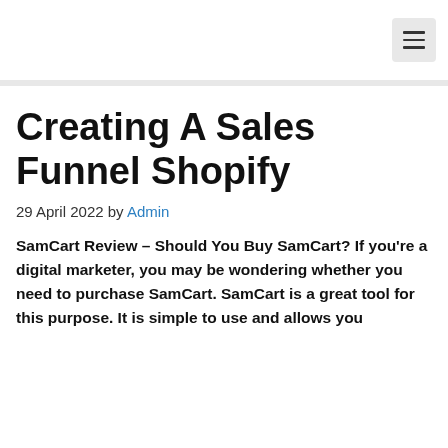≡ (menu button)
Creating A Sales Funnel Shopify
29 April 2022 by Admin
SamCart Review – Should You Buy SamCart? If you're a digital marketer, you may be wondering whether you need to purchase SamCart. SamCart is a great tool for this purpose. It is simple to use and allows you